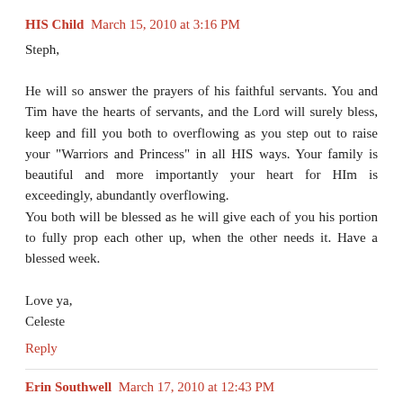HIS Child  March 15, 2010 at 3:16 PM
Steph,

He will so answer the prayers of his faithful servants. You and Tim have the hearts of servants, and the Lord will surely bless, keep and fill you both to overflowing as you step out to raise your "Warriors and Princess" in all HIS ways. Your family is beautiful and more importantly your heart for HIm is exceedingly, abundantly overflowing.
You both will be blessed as he will give each of you his portion to fully prop each other up, when the other needs it. Have a blessed week.

Love ya,
Celeste
Reply
Erin Southwell  March 17, 2010 at 12:43 PM
Steph-ive thought about you every day since wynn's arrival